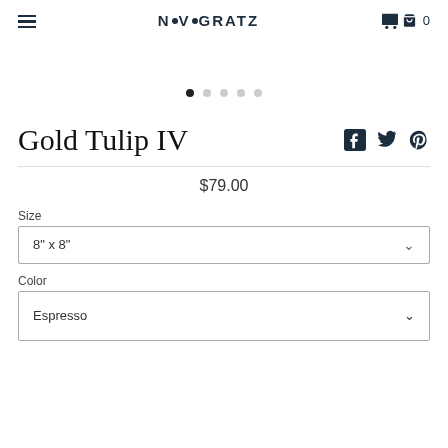NOVOGRATZ
[Figure (other): Image carousel pagination dots (5 dots, first active)]
Gold Tulip IV
[Figure (other): Social sharing icons: Facebook, Twitter, Pinterest]
$79.00
Size
8" x 8"
Color
Espresso